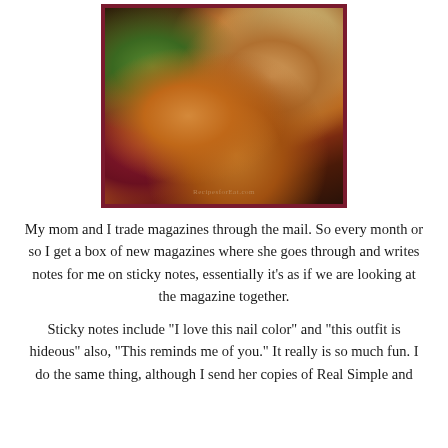[Figure (photo): Close-up food photograph of seasoned shrimp tacos with red cabbage slaw and flour tortillas on a dark plate, with a watermark partially visible at the bottom]
My mom and I trade magazines through the mail. So every month or so I get a box of new magazines where she goes through and writes notes for me on sticky notes, essentially it's as if we are looking at the magazine together.
Sticky notes include "I love this nail color" and "this outfit is hideous" also, "This reminds me of you." It really is so much fun. I do the same thing, although I send her copies of Real Simple and